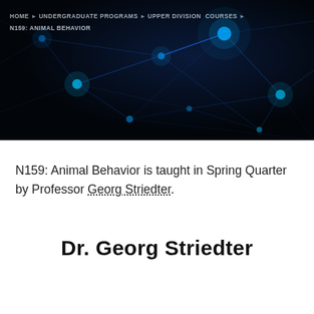[Figure (photo): Dark background image of glowing blue neural network connections, used as a hero banner for the N159: Animal Behavior course page.]
HOME › UNDERGRADUATE PROGRAMS › UPPER DIVISION COURSES › N159: ANIMAL BEHAVIOR
N159: Animal Behavior is taught in Spring Quarter by Professor Georg Striedter.
Dr. Georg Striedter